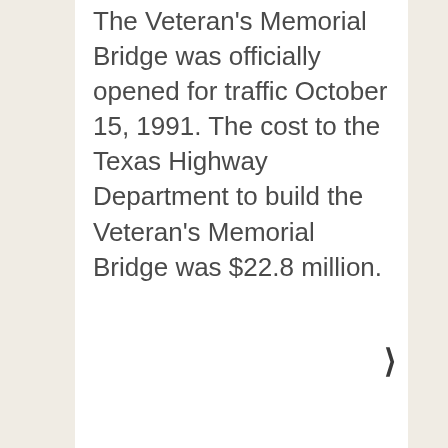The Veteran's Memorial Bridge was officially opened for traffic October 15, 1991. The cost to the Texas Highway Department to build the Veteran's Memorial Bridge was $22.8 million.